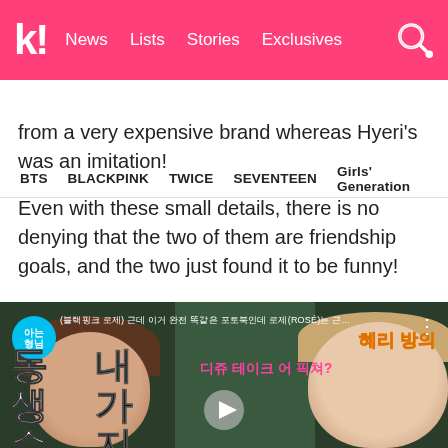K! News  Lists  Stories  Exclusives
BTS  BLACKPINK  TWICE  SEVENTEEN  Girls' Generation
from a very expensive brand whereas Hyeri's was an imitation!
Even with these small details, there is no denying that the two of them are friendship goals, and the two just found it to be funny!
You can watch the full clip from the show below!
[Figure (screenshot): Video thumbnail showing two women and Korean text overlays from a variety show. Korean text includes large characters on left side and yellow/pink text. A play button is visible at the bottom center.]